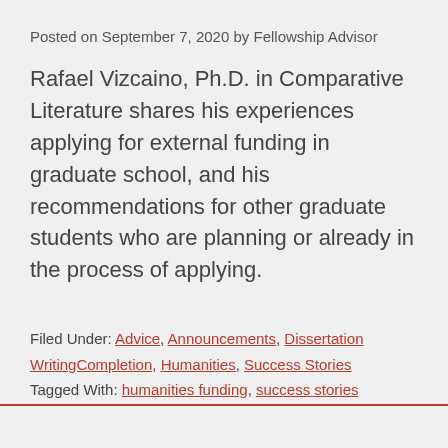Posted on September 7, 2020 by Fellowship Advisor
Rafael Vizcaino, Ph.D. in Comparative Literature shares his experiences applying for external funding in graduate school, and his recommendations for other graduate students who are planning or already in the process of applying.
Filed Under: Advice, Announcements, Dissertation WritingCompletion, Humanities, Success Stories
Tagged With: humanities funding, success stories